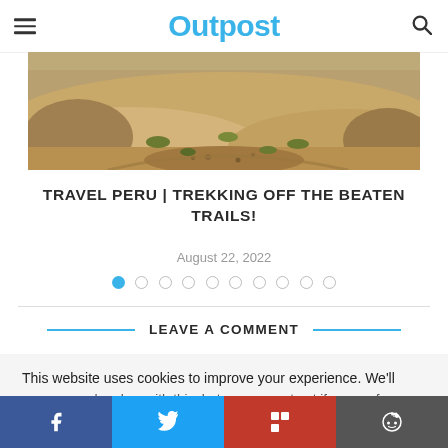Outpost
[Figure (photo): Aerial/close-up view of a rocky, sandy desert trail with sparse dry grass and gravel in Peru]
TRAVEL PERU | TREKKING OFF THE BEATEN TRAILS!
August 22, 2022
Slide pagination dots (1 of 10 active)
LEAVE A COMMENT
This website uses cookies to improve your experience. We'll assume you're okay with this, but you can opt out if you prefer